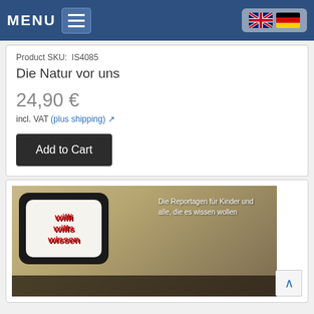MENU
Product SKU:  IS4085
Die Natur vor uns
24,90 €
incl. VAT (plus shipping)
Add to Cart
[Figure (photo): Product image showing 'Willi wills wissen' DVD/book cover with stylized TV screen logo on a sandy/brown background with German text 'Die Reportagen für Kinder und alle, die es wissen wollen']